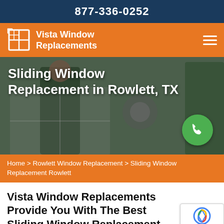877-336-0252
[Figure (logo): Vista Window Replacements logo with window icon on orange background with hamburger menu icon]
[Figure (photo): Hero image of workers cleaning/installing windows with title overlay: Sliding Window Replacement in Rowlett, TX and a green phone call button]
Home > Rowlett Window Replacement > Sliding Window Replacement Rowlett
Vista Window Replacements Provide You With The Best Sliding Window Replacement...